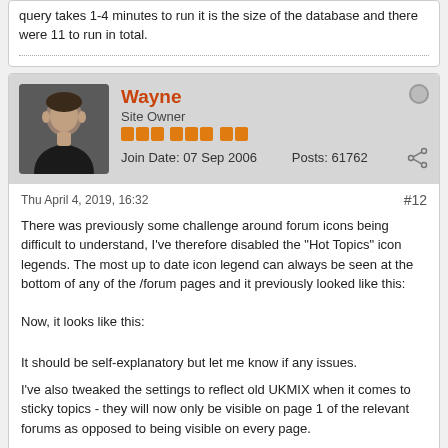query takes 1-4 minutes to run it is the size of the database and there were 11 to run in total.
Wayne
Site Owner
Join Date: 07 Sep 2006   Posts: 61762
Thu April 4, 2019, 16:32
#12
There was previously some challenge around forum icons being difficult to understand, I've therefore disabled the "Hot Topics" icon legends. The most up to date icon legend can always be seen at the bottom of any of the /forum pages and it previously looked like this:
Now, it looks like this:
It should be self-explanatory but let me know if any issues.
I've also tweaked the settings to reflect old UKMIX when it comes to sticky topics - they will now only be visible on page 1 of the relevant forums as opposed to being visible on every page.